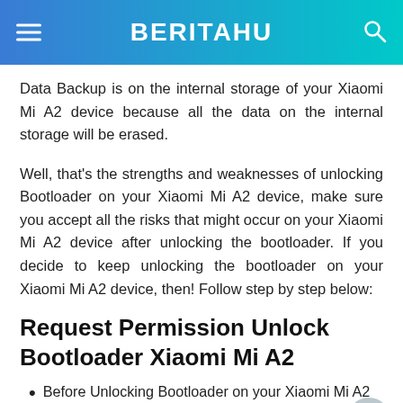BERITAHU
Data Backup is on the internal storage of your Xiaomi Mi A2 device because all the data on the internal storage will be erased.
Well, that's the strengths and weaknesses of unlocking Bootloader on your Xiaomi Mi A2 device, make sure you accept all the risks that might occur on your Xiaomi Mi A2 device after unlocking the bootloader. If you decide to keep unlocking the bootloader on your Xiaomi Mi A2 device, then! Follow step by step below:
Request Permission Unlock Bootloader Xiaomi Mi A2
Before Unlocking Bootloader on your Xiaomi Mi A2 device, the most important thing you have to have is